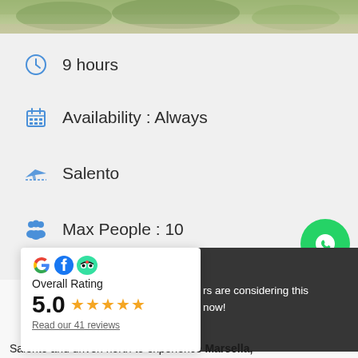[Figure (photo): Top photo strip showing outdoor scene with people and greenery]
9 hours
Availability : Always
Salento
Max People : 10
[Figure (logo): Google, Facebook, TripAdvisor logos]
Overall Rating
5.0 ★★★★★
Read our 41 reviews
rs are considering this now!
Salento and driven north to experience Marsella,